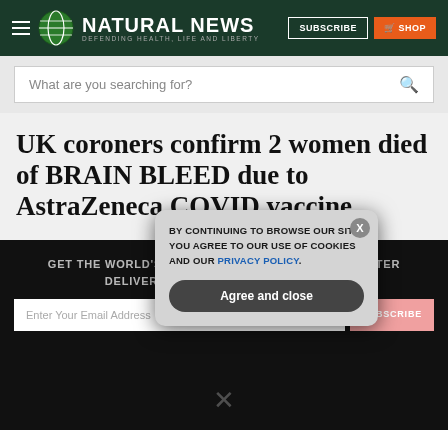NATURAL NEWS — DEFENDING HEALTH, LIFE AND LIBERTY
What are you searching for?
UK coroners confirm 2 women died of BRAIN BLEED due to AstraZeneca COVID vaccine
GET THE WORLD'S BEST NATURAL HEALTH NEWSLETTER DELIVERED STRAIGHT TO YOUR INBOX
BY CONTINUING TO BROWSE OUR SITE YOU AGREE TO OUR USE OF COOKIES AND OUR PRIVACY POLICY.
Agree and close